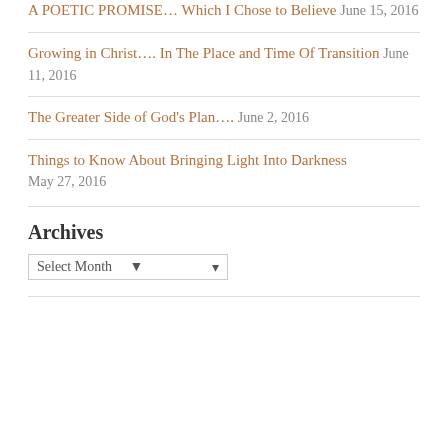A POETIC PROMISE… Which I Chose to Believe June 15, 2016
Growing in Christ…. In The Place and Time Of Transition June 11, 2016
The Greater Side of God's Plan…. June 2, 2016
Things to Know About Bringing Light Into Darkness May 27, 2016
Archives
Select Month